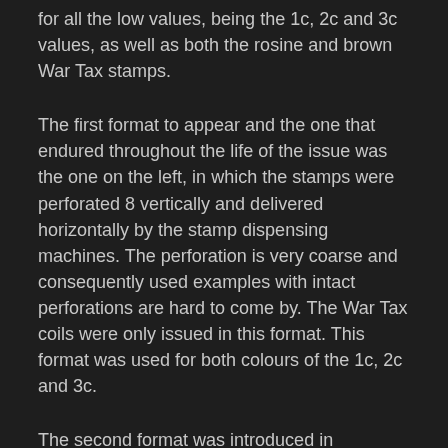for all the low values, being the 1c, 2c and 3c values, as well as both the rosine and brown War Tax stamps.
The first format to appear and the one that endured throughout the life of the issue was the one on the left, in which the stamps were perforated 8 vertically and delivered horizontally by the stamp dispensing machines. The perforation is very coarse and consequently used examples with intact perforations are hard to come by. The War Tax coils were only issued in this format. This format was used for both colours of the 1c, 2c and 3c.
The second format was introduced in February 1913, and from what I can see from the cancellation dates I have come across, it was relatively short lived, being completely gone by 1920. The only stamps to be issued in this format are the 1c green and 2c carmine, and they are only found in the early shades.